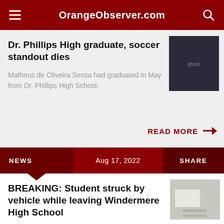OrangeObserver.com
Dr. Phillips High graduate, soccer standout dies
Matheus de Oliveira Sessa had graduated in May from Dr. Phillips High School.
READ MORE →
NEWS  Aug 17, 2022  SHARE
BREAKING: Student struck by vehicle while leaving Windermere High School